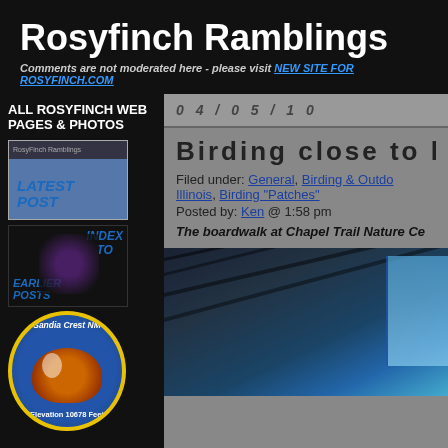Rosyfinch Ramblings
Comments are not moderated here - please visit NEW SITE FOR ROSYFINCH.COM
ALL ROSYFINCH WEB PAGES & PHOTOS
[Figure (screenshot): Thumbnail screenshot of Rosyfinch Ramblings website with LATEST POST label]
[Figure (illustration): Bird illustration with INDEX TO EARLIER POSTS label]
[Figure (logo): Sandia Crest NM circular logo with bird illustration, Elevation 10678 Feet]
0 4 / 0 5 / 1 0
Birding close to h
Filed under: General, Birding & Outdo... Illinois, Birding "Patches"
Posted by: Ken @ 1:58 pm
The boardwalk at Chapel Trail Nature Ce
[Figure (photo): Boardwalk at Chapel Trail Nature Center, dark wooden beams with blue sky visible]